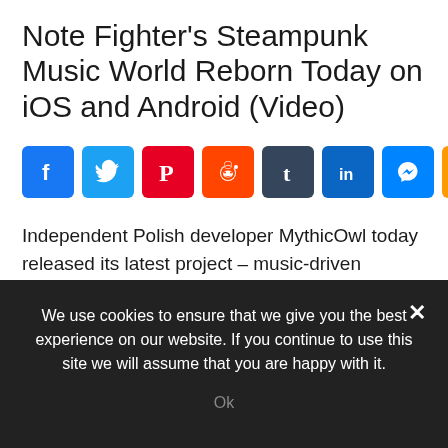Note Fighter's Steampunk Music World Reborn Today on iOS and Android (Video)
[Figure (infographic): Social share buttons row: Facebook, Twitter, Pinterest, Reddit, Tumblr, LinkedIn, Messenger, Amazon, Share More]
Independent Polish developer MythicOwl today released its latest project – music-driven steampunk title Note Fighter. The original Note Fighter was discovered and acquired by MythicOwl in August of this year with the intent of reinventing this gem and saving it from mobile marketplace oblivion. This upscaled version of the original
We use cookies to ensure that we give you the best experience on our website. If you continue to use this site we will assume that you are happy with it.
Ok